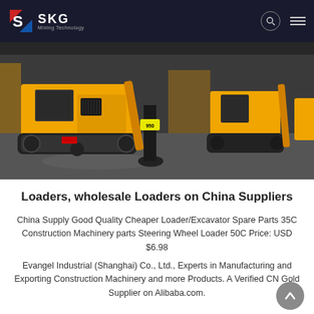SKG Mining Technology
[Figure (photo): Row of yellow mini excavators/track loaders in a warehouse or factory floor, viewed from front-left angle showing rubber tracks and excavator arms]
Loaders, wholesale Loaders on China Suppliers
China Supply Good Quality Cheaper Loader/Excavator Spare Parts 35C Construction Machinery parts Steering Wheel Loader 50C Price: USD $6.98
Evangel Industrial (Shanghai) Co., Ltd., Experts in Manufacturing and Exporting Construction Machinery and more Products. A Verified CN Gold Supplier on Alibaba.com.